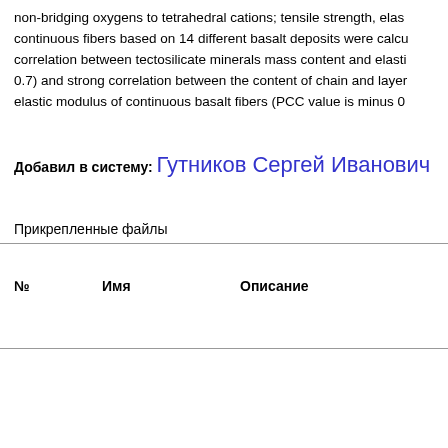non-bridging oxygens to tetrahedral cations; tensile strength, elas... continuous fibers based on 14 different basalt deposits were calcu... correlation between tectosilicate minerals mass content and elasti... 0.7) and strong correlation between the content of chain and laye... elastic modulus of continuous basalt fibers (PCC value is minus 0...
Добавил в систему: Гутников Сергей Иванович
Прикрепленные файлы
| № | Имя | Описание |  |
| --- | --- | --- | --- |